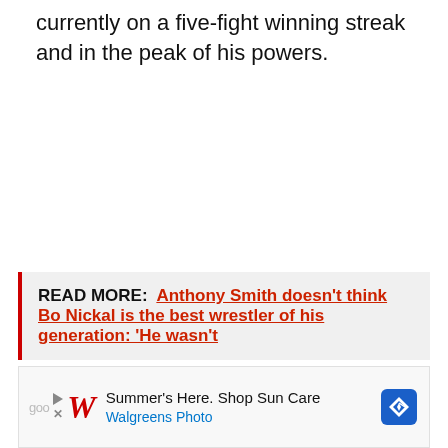currently on a five-fight winning streak and in the peak of his powers.
READ MORE: Anthony Smith doesn't think Bo Nickal is the best wrestler of his generation: 'He wasn't
[Figure (other): Advertisement banner: Walgreens Photo - Summer's Here. Shop Sun Care]